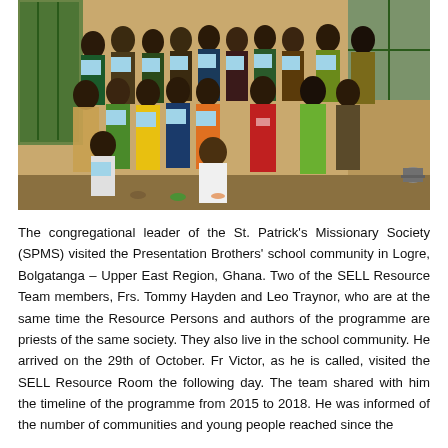[Figure (photo): Group photo of approximately 20 young people and adults standing in front of a building wall, most holding light blue certificates/documents. They are posed in rows. One person is crouching in front. Setting appears to be outdoors in Ghana.]
The congregational leader of the St. Patrick's Missionary Society (SPMS) visited the Presentation Brothers' school community in Logre, Bolgatanga – Upper East Region, Ghana. Two of the SELL Resource Team members, Frs. Tommy Hayden and Leo Traynor, who are at the same time the Resource Persons and authors of the programme are priests of the same society. They also live in the school community. He arrived on the 29th of October. Fr Victor, as he is called, visited the SELL Resource Room the following day. The team shared with him the timeline of the programme from 2015 to 2018. He was informed of the number of communities and young people reached since the